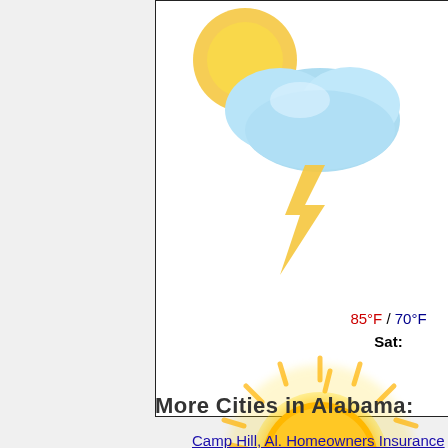[Figure (illustration): Weather icon showing partly cloudy with sun and lightning/rain, positioned at top of bordered box]
85°F / 70°F
Sat:
[Figure (illustration): Weather icon showing bright sunny sun, golden yellow with rays]
89°F / 69°F
More Cities in Alabama:
Camp Hill, Al. Homeowners Insurance